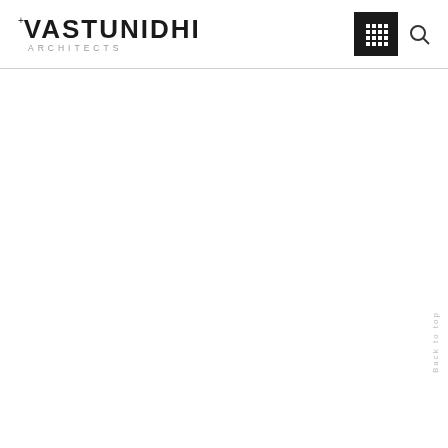+ VASTUNIDHI ARCHITECTS
[Figure (logo): Vastunidhi Architects logo with grid menu icon and search icon]
Back to top